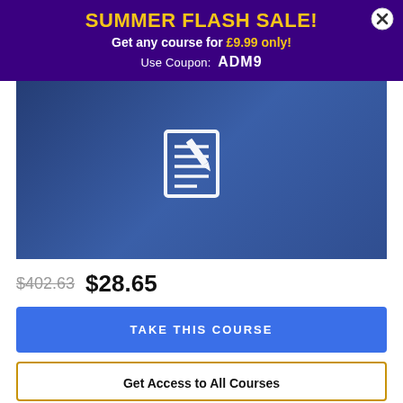SUMMER FLASH SALE! Get any course for £9.99 only! Use Coupon: ADM9
[Figure (photo): A blue-tinted photo of people working at a desk with a keyboard and documents, overlaid with a white document/edit icon in the center]
$402.63 $28.65
TAKE THIS COURSE
Get Access to All Courses